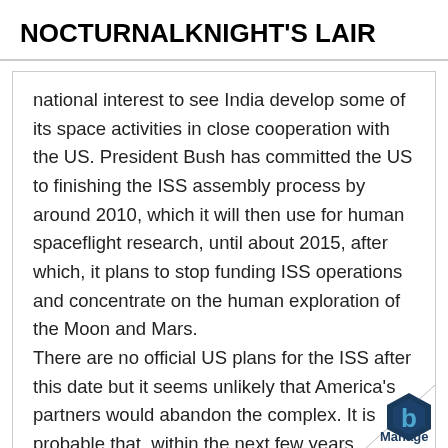NOCTURNALKNIGHT'S LAIR
national interest to see India develop some of its space activities in close cooperation with the US. President Bush has committed the US to finishing the ISS assembly process by around 2010, which it will then use for human spaceflight research, until about 2015, after which, it plans to stop funding ISS operations and concentrate on the human exploration of the Moon and Mars. There are no official US plans for the ISS after this date but it seems unlikely that America's partners would abandon the complex. It is probable that, within the next few years, negotiations will begin covering the long-term future of the ISS, where US might consider handing over to India some of its
[Figure (logo): Manage logo with hexagon icon in bottom right corner, page curl effect]